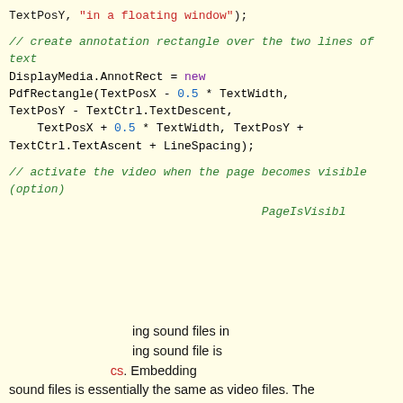[Figure (screenshot): Code snippet showing DisplayMedia.AnnotRect assignment with PdfRectangle constructor and comments about annotation rectangle and video activation, partially obscured by cookie consent banner overlay.]
Like every other website we use cookies. By using our site you acknowledge that you have read and understand our Cookie Policy, Privacy Policy, and our Terms of Service. Learn more
Ask me later  Decline  Allow cookies
ing sound files in ing sound file is cs. Embedding sound files is essentially the same as video files. The